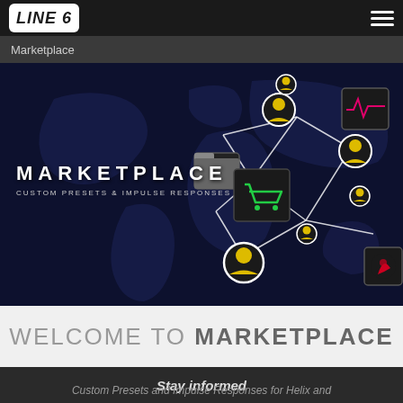LINE 6 | Marketplace
[Figure (screenshot): Line 6 Marketplace hero banner showing a dark world map with network nodes (user icons, shopping cart, folder, equalizer, instrument icons) connected by white lines, with text 'MARKETPLACE / CUSTOM PRESETS & IMPULSE RESPONSES']
WELCOME TO MARKETPLACE
Custom Presets and Impulse Responses for Helix and
Stay informed